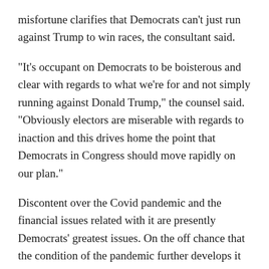misfortune clarifies that Democrats can't just run against Trump to win races, the consultant said.
“It’s occupant on Democrats to be boisterous and clear with regards to what we’re for and not simply running against Donald Trump,” the counsel said. “Obviously electors are miserable with regards to inaction and this drives home the point that Democrats in Congress should move rapidly on our plan.”
Discontent over the Covid pandemic and the financial issues related with it are presently Democrats’ greatest issues. On the off chance that the condition of the pandemic further develops it would prompt financial development, more positions and expansion returning to normal. That could light up the general state of mind among Democrats, reestablish Biden’s survey numbers a little and give the party a little space to sell what they’ve passed and go on offense against Republicans.